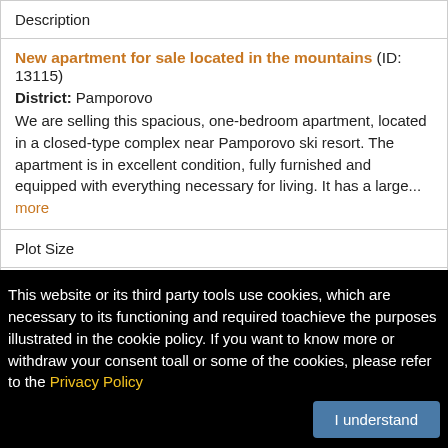| Description |
| --- |
| New apartment for sale located in the mountains (ID: 13115)
District: Pamporovo
We are selling this spacious, one-bedroom apartment, located in a closed-type complex near Pamporovo ski resort. The apartment is in excellent condition, fully furnished and equipped with everything necessary for living. It has a large... more |
| Plot Size |
| 0 m² |
| Price |
This website or its third party tools use cookies, which are necessary to its functioning and required toachieve the purposes illustrated in the cookie policy. If you want to know more or withdraw your consent toall or some of the cookies, please refer to the Privacy Policy
I understand